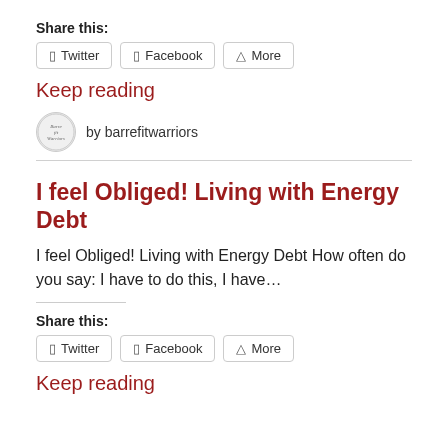Share this:
Twitter  Facebook  More
Keep reading
by barrefitwarriors
I feel Obliged! Living with Energy Debt
I feel Obliged! Living with Energy Debt How often do you say: I have to do this, I have…
Share this:
Twitter  Facebook  More
Keep reading